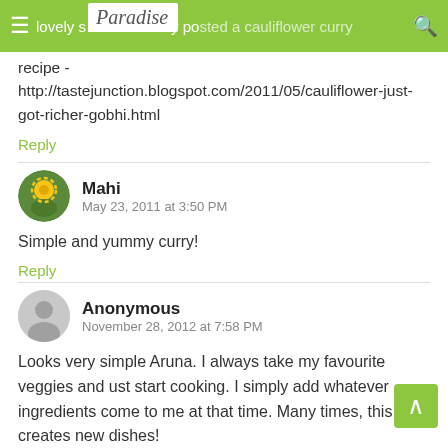lovely someone recently posted a cauliflower curry recipe - [logo: Paradise]
recipe - http://tastejunction.blogspot.com/2011/05/cauliflower-just-got-richer-gobhi.html
Reply
Mahi
May 23, 2011 at 3:50 PM

Simple and yummy curry!

Reply
Anonymous
November 28, 2012 at 7:58 PM

Looks very simple Aruna. I always take my favourite veggies and ust start cooking. I simply add whatever ingredients come to me at that time. Many times, this creates new dishes!